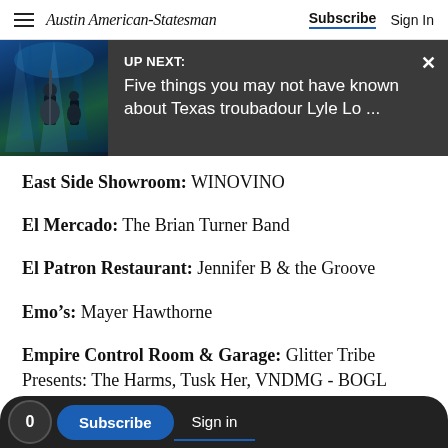Austin American-Statesman  Subscribe  Sign In
[Figure (screenshot): UP NEXT banner with concert photo: Five things you may not have known about Texas troubadour Lyle Lo ...]
East Side Showroom: WINOVINO
El Mercado: The Brian Turner Band
El Patron Restaurant: Jennifer B & the Groove
Emo's: Mayer Hawthorne
Empire Control Room & Garage: Glitter Tribe Presents: The Harms, Tusk Her, VNDMG - BOGL
0  Subscribe  Sign in